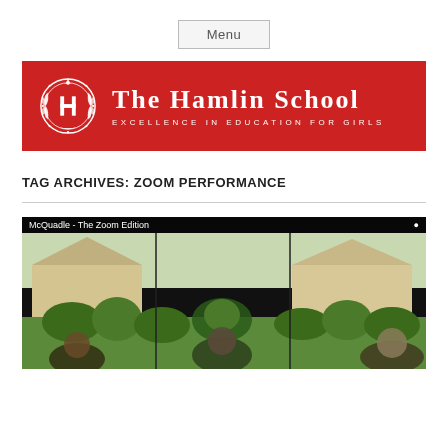Menu
[Figure (logo): The Hamlin School logo banner — red background with white crest emblem on the left and text 'The Hamlin School' with tagline 'Excellence in Education for Girls']
TAG ARCHIVES: ZOOM PERFORMANCE
[Figure (screenshot): Video screenshot titled 'McQuadle - The Zoom Edition' showing multiple people on a video call with green lawn and house backgrounds visible]